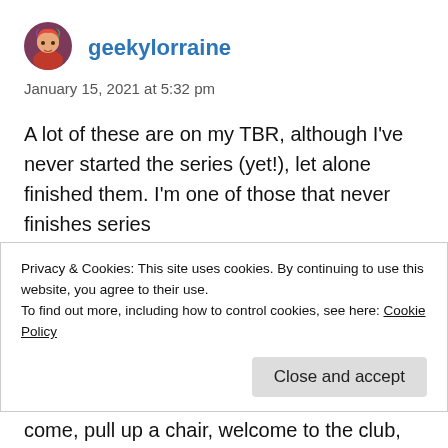[Figure (illustration): Circular avatar image of user geekylorraine showing a cartoon/illustrated character with colorful hair]
geekylorraine
January 15, 2021 at 5:32 pm
A lot of these are on my TBR, although I've never started the series (yet!), let alone finished them. I'm one of those that never finishes series
★ Liked by 1 person
Reply
Privacy & Cookies: This site uses cookies. By continuing to use this website, you agree to their use.
To find out more, including how to control cookies, see here: Cookie Policy
Close and accept
come, pull up a chair, welcome to the club,